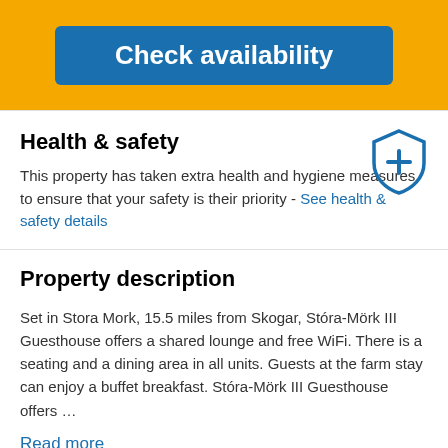[Figure (screenshot): Blue 'Check availability' button on a yellow/gold background banner]
Health & safety
This property has taken extra health and hygiene measures to ensure that your safety is their priority - See health & safety details
[Figure (illustration): Blue shield icon with a plus/cross symbol]
Property description
Set in Stora Mork, 15.5 miles from Skogar, Stóra-Mörk III Guesthouse offers a shared lounge and free WiFi. There is a seating and a dining area in all units. Guests at the farm stay can enjoy a buffet breakfast. Stóra-Mörk III Guesthouse offers …
Read more
Host Information